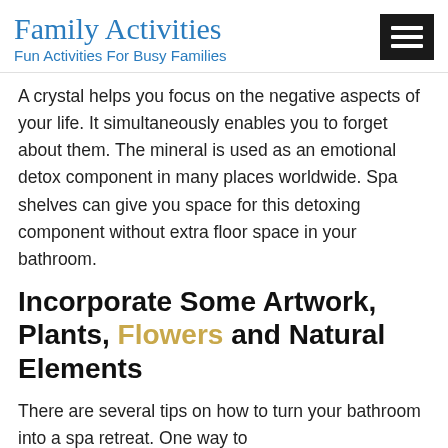Family Activities
Fun Activities For Busy Families
A crystal helps you focus on the negative aspects of your life. It simultaneously enables you to forget about them. The mineral is used as an emotional detox component in many places worldwide. Spa shelves can give you space for this detoxing component without extra floor space in your bathroom.
Incorporate Some Artwork, Plants, Flowers and Natural Elements
There are several tips on how to turn your bathroom into a spa retreat. One way to